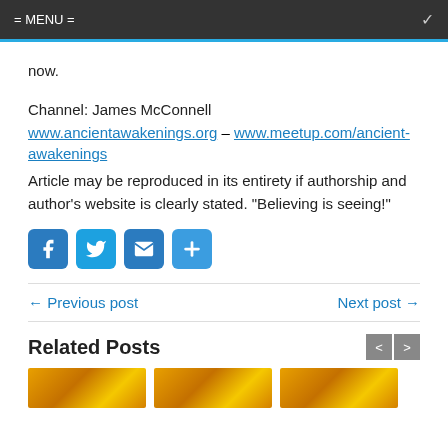= MENU =
now.
Channel: James McConnell
www.ancientawakenings.org – www.meetup.com/ancient-awakenings
Article may be reproduced in its entirety if authorship and author's website is clearly stated. "Believing is seeing!"
[Figure (infographic): Social share icons: Facebook, Twitter, Email, More]
← Previous post    Next post →
Related Posts
[Figure (photo): Three related post thumbnail images with orange/golden tones]